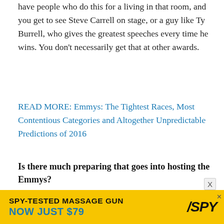have people who do this for a living in that room, and you get to see Steve Carrell on stage, or a guy like Ty Burrell, who gives the greatest speeches every time he wins. You don't necessarily get that at other awards.
READ MORE: Emmys: The Tightest Races, Most Contentious Categories and Altogether Unpredictable Predictions of 2016
Is there much preparing that goes into hosting the Emmys?
There's a tremendous amount of preparation that goes into it, and I have all my writers from the show working on the Emmy show. The hard part is figuring out which jokes will really play because a group of comedy writers might have a different mentality than America. You have to figure out th
[Figure (other): Advertisement banner: SPY-TESTED MASSAGE GUN NOW JUST $79 with SPY logo on yellow background]